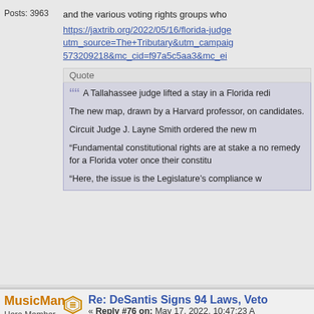Posts: 3963
and the various voting rights groups who...
https://jaxtrib.org/2022/05/16/florida-judge... utm_source=The+Tributary&utm_campaig... 573209218&mc_cid=f97a5c5aa3&mc_ei...
Quote
A Tallahassee judge lifted a stay in a Florida redi...
The new map, drawn by a Harvard professor, on... candidates.
Circuit Judge J. Layne Smith ordered the new m...
“Fundamental constitutional rights are at stake a... no remedy for a Florida voter once their constitu...
“Here, the issue is the Legislature’s compliance w...
MusicMan
Hero Member
Re: DeSantis Signs 94 Laws, Veto...
« Reply #76 on: May 17, 2022, 10:47:23 A...
Thank you.
On an unrelated/related note, the appojnt... conservative, in a position whose very na...